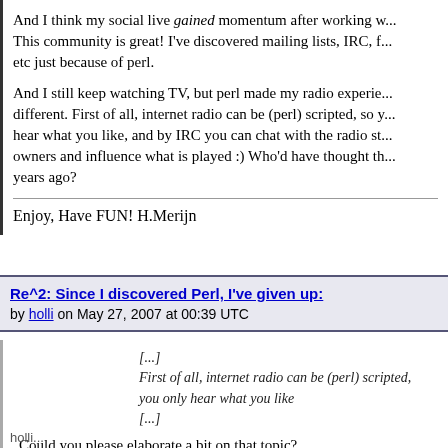And I think my social live gained momentum after working w... This community is great! I've discovered mailing lists, IRC, f... etc just because of perl.
And I still keep watching TV, but perl made my radio experien... different. First of all, internet radio can be (perl) scripted, so y... hear what you like, and by IRC you can chat with the radio sta... owners and influence what is played :) Who'd have thought th... years ago?
Enjoy, Have FUN! H.Merijn
Re^2: Since I discovered Perl, I've given up:
by holli on May 27, 2007 at 00:39 UTC
[...]
First of all, internet radio can be (perl) scripted,
you only hear what you like
[...]
Could you please elaborate a bit on that topic?
holli...